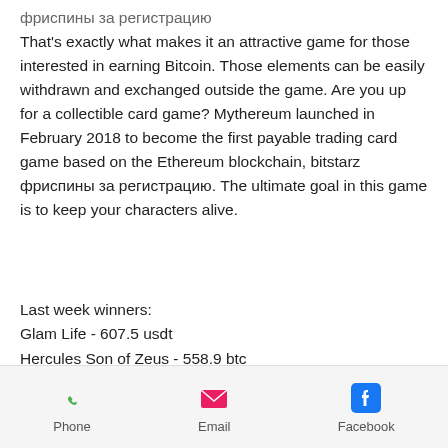фриспины за регистрацию
That's exactly what makes it an attractive game for those interested in earning Bitcoin. Those elements can be easily withdrawn and exchanged outside the game. Are you up for a collectible card game? Mythereum launched in February 2018 to become the first payable trading card game based on the Ethereum blockchain, bitstarz фриспины за регистрацию. The ultimate goal in this game is to keep your characters alive.
Last week winners:
Glam Life - 607.5 usdt
Hercules Son of Zeus - 558.9 btc
The Epic Journey - 107.5 dog
Shining Treasures - 343.6 dog
The Monkey King - 580.7 ltc
Rockstar - 369.9 dog
Phone   Email   Facebook